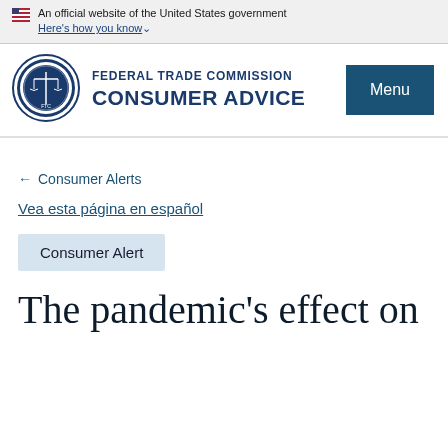An official website of the United States government Here's how you know
[Figure (logo): Federal Trade Commission seal logo, circular blue emblem with scales of justice]
FEDERAL TRADE COMMISSION CONSUMER ADVICE
Menu
← Consumer Alerts
Vea esta página en español
Consumer Alert
The pandemic's effect on